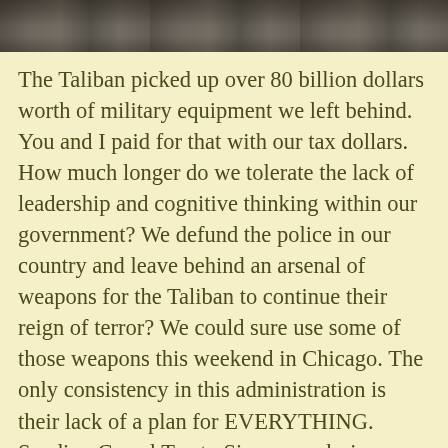[Figure (photo): Cropped photo strip at top of image showing people in dark clothing, partially visible]
The Taliban picked up over 80 billion dollars worth of military equipment we left behind. You and I paid for that with our tax dollars. How much longer do we tolerate the lack of leadership and cognitive thinking within our government? We defund the police in our country and leave behind an arsenal of weapons for the Taliban to continue their reign of terror? We could sure use some of those weapons this weekend in Chicago. The only consistency in this administration is their lack of a plan for EVERYTHING. Sending Camel Toe to Singapore during a humanitarian crisis is just another example